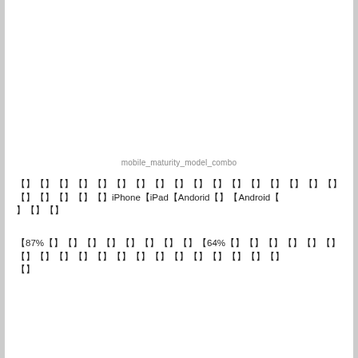mobile_maturity_model_combo
【】【】【】【】【】【】【】【】【】【】【】【】【】【】【】【】【】【】【】【】【】【】iPhone【iPad【Andorid【】【Android【】【】【】
【87%【】【】【】【】【】【】【】【】【64%【】【】【】【】【】【】【】【】【】【】【】【】【】【】【】【】【】【】【】【】